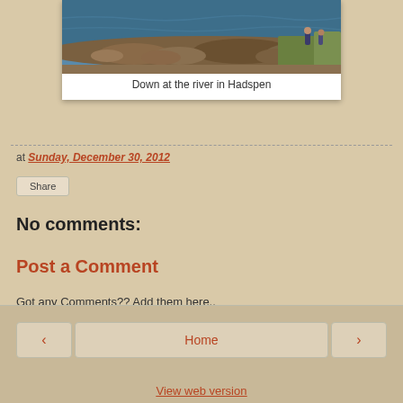[Figure (photo): Photo of a river with rocky shoreline and people visible in the background, at Hadspen]
Down at the river in Hadspen
at Sunday, December 30, 2012
Share
No comments:
Post a Comment
Got any Comments?? Add them here..
Home
View web version